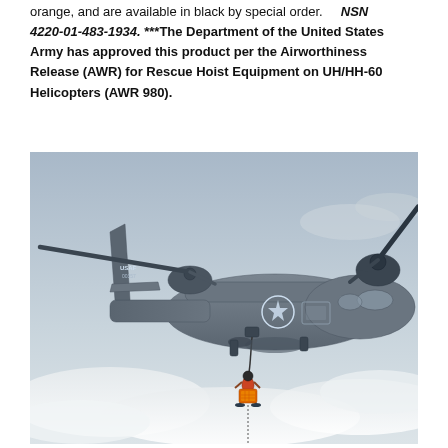orange, and are available in black by special order.   NSN 4220-01-483-1934. ***The Department of the United States Army has approved this product per the Airworthiness Release (AWR) for Rescue Hoist Equipment on UH/HH-60 Helicopters (AWR 980).
[Figure (photo): A military V-22 Osprey aircraft (marked USAF) in flight with a rescue hoist lowering a person holding orange equipment below the aircraft, set against a cloudy sky.]